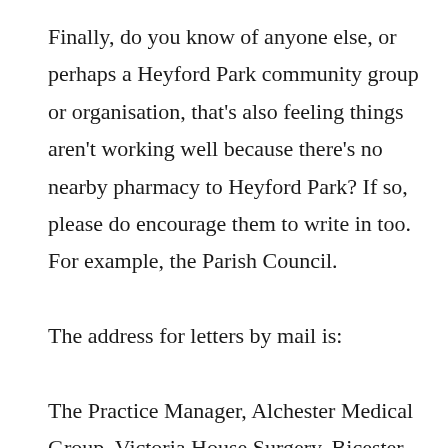Finally, do you know of anyone else, or perhaps a Heyford Park community group or organisation, that's also feeling things aren't working well because there's no nearby pharmacy to Heyford Park? If so, please do encourage them to write in too. For example, the Parish Council.
The address for letters by mail is:
The Practice Manager, Alchester Medical Group, Victoria House Surgery, Bicester